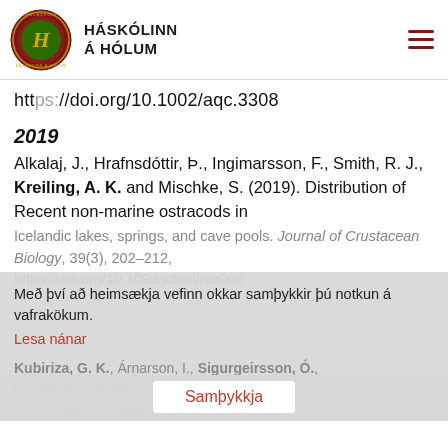HÁSKÓLINN Á HÓLUM
https://doi.org/10.1002/aqc.3308
2019
Alkalaj, J., Hrafnsdóttir, Þ., Ingimarsson, F., Smith, R. J., Kreiling, A. K. and Mischke, S. (2019). Distribution of Recent non-marine ostracods in Icelandic lakes, springs, and cave pools. Journal of Crustacean Biology, 39(3), 202–212, https://doi.org/10.1093/jcbiol/ruz008
Með því að heimsækja vefinn okkar samþykkir þú notkun á vafrakökum.
Lesa nánar
Samþykkja
Kubiriza, G. K., Árnarson, I., Sigurgeirsson, Ó., Hamaguchi, P., Snorrason, S., Þómasson, T. and Thorarensen, H. (2019). Growth and hepatic...